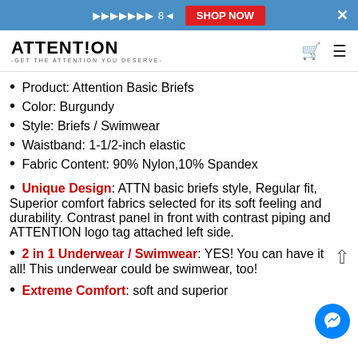ATTENTION -GET THE ATTENTION YOU DESERVE-
Product: Attention Basic Briefs
Color: Burgundy
Style: Briefs / Swimwear
Waistband: 1-1/2-inch elastic
Fabric Content: 90% Nylon,10% Spandex
Unique Design: ATTN basic briefs style, Regular fit, Superior comfort fabrics selected for its soft feeling and durability. Contrast panel in front with contrast piping and ATTENTION logo tag attached left side.
2 in 1 Underwear / Swimwear: YES! You can have it all! This underwear could be swimwear, too!
Extreme Comfort: soft and superior